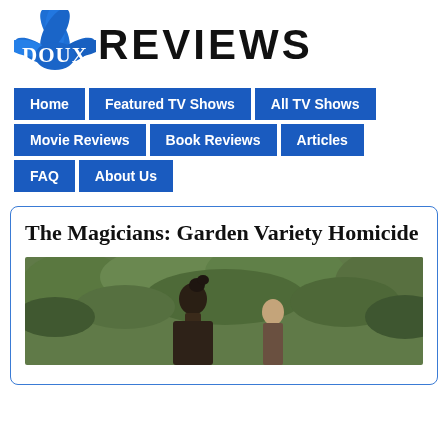[Figure (logo): Doux Reviews logo with blue flower/lotus and text 'DOUX REVIEWS']
[Figure (infographic): Navigation menu bar with blue buttons: Home, Featured TV Shows, All TV Shows, Movie Reviews, Book Reviews, Articles, FAQ, About Us]
The Magicians: Garden Variety Homicide
[Figure (photo): Two people outdoors with green foliage background, one with hair in a bun]